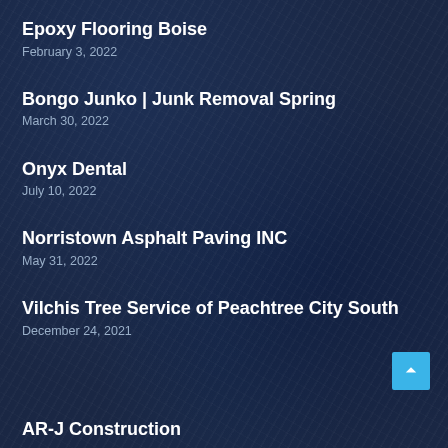Epoxy Flooring Boise
February 3, 2022
Bongo Junko | Junk Removal Spring
March 30, 2022
Onyx Dental
July 10, 2022
Norristown Asphalt Paving INC
May 31, 2022
Vilchis Tree Service of Peachtree City South
December 24, 2021
AR-J Construction